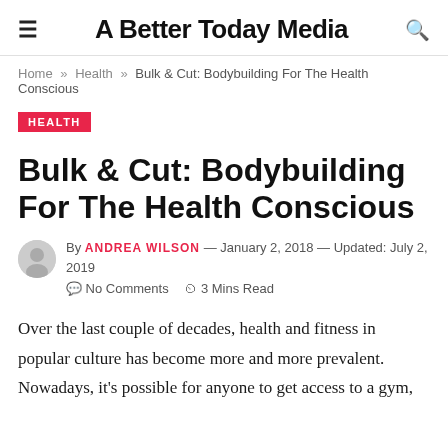A Better Today Media
Home » Health » Bulk & Cut: Bodybuilding For The Health Conscious
HEALTH
Bulk & Cut: Bodybuilding For The Health Conscious
By ANDREA WILSON — January 2, 2018 — Updated: July 2, 2019  No Comments  3 Mins Read
Over the last couple of decades, health and fitness in popular culture has become more and more prevalent. Nowadays, it's possible for anyone to get access to a gym,